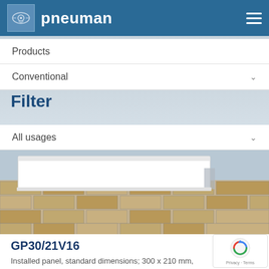pneuman
Products
Conventional
Filter
All usages
[Figure (photo): Close-up photo of a white installed panel on a stone/brick wall]
GP30/21V16
Installed panel, standard dimensions; 300 x 210 mm, windows for customisable text.